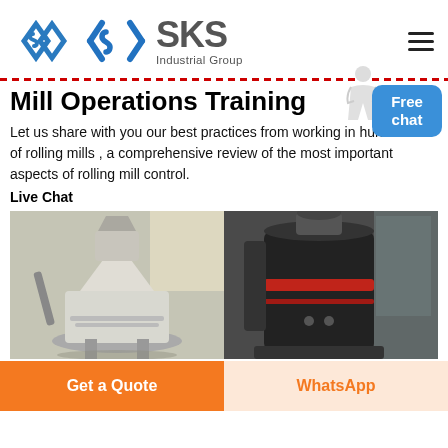SKS Industrial Group
Mill Operations Training
Let us share with you our best practices from working in hundreds of rolling mills , a comprehensive review of the most important aspects of rolling mill control.
Live Chat
[Figure (photo): Two industrial mill machines side by side: left is a white/grey cone-shaped rolling mill, right is a dark cylindrical industrial mill with red band.]
Get a Quote
WhatsApp